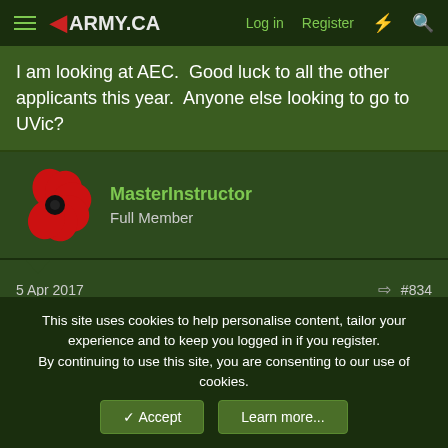ARMY.CA — Log in  Register
I am looking at AEC.  Good luck to all the other applicants this year.  Anyone else looking to go to UVic?
MasterInstructor
Full Member
5 Apr 2017  #834
Pagan said:
I am looking at AEC.  Good luck to all the other applicants this year.  Anyone else looking to go to UVic?
This site uses cookies to help personalise content, tailor your experience and to keep you logged in if you register.
By continuing to use this site, you are consenting to our use of cookies.
✓ Accept   Learn more...